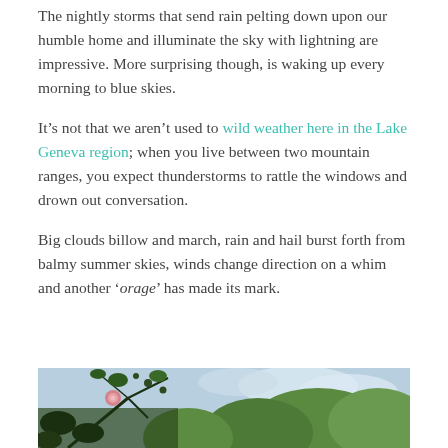The nightly storms that send rain pelting down upon our humble home and illuminate the sky with lightning are impressive. More surprising though, is waking up every morning to blue skies.
It’s not that we aren’t used to wild weather here in the Lake Geneva region; when you live between two mountain ranges, you expect thunderstorms to rattle the windows and drown out conversation.
Big clouds billow and march, rain and hail burst forth from balmy summer skies, winds change direction on a whim and another ‘orage’ has made its mark.
[Figure (photo): A garden scene with tree branches in the foreground showing a pink rose, green leafy trees in the background, and a cloudy sky visible through the canopy.]